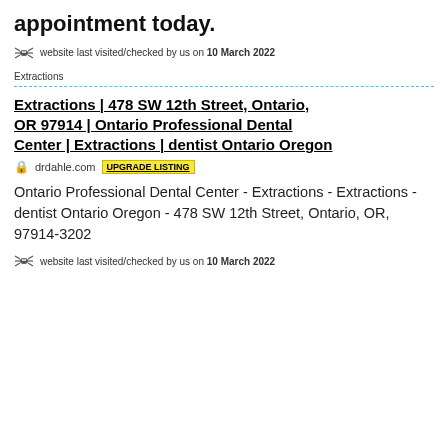appointment today.
website last visited/checked by us on 10 March 2022
Extractions
Extractions | 478 SW 12th Street, Ontario, OR 97914 | Ontario Professional Dental Center | Extractions | dentist Ontario Oregon
drdahle.com UPGRADE LISTING
Ontario Professional Dental Center - Extractions - Extractions - dentist Ontario Oregon - 478 SW 12th Street, Ontario, OR, 97914-3202
website last visited/checked by us on 10 March 2022